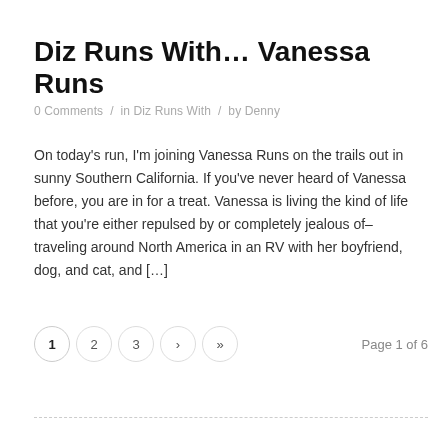Diz Runs With… Vanessa Runs
0 Comments / in Diz Runs With / by Denny
On today's run, I'm joining Vanessa Runs on the trails out in sunny Southern California. If you've never heard of Vanessa before, you are in for a treat. Vanessa is living the kind of life that you're either repulsed by or completely jealous of– traveling around North America in an RV with her boyfriend, dog, and cat, and […]
1  2  3  ›  »    Page 1 of 6